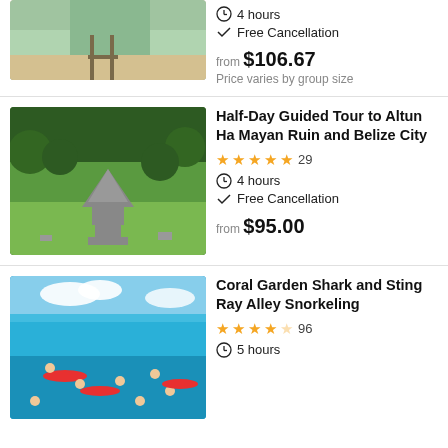[Figure (photo): Partial beach/pier photo at top of page, partially cropped]
4 hours
Free Cancellation
from $106.67
Price varies by group size
[Figure (photo): Aerial photo of Altun Ha Mayan Ruin surrounded by jungle]
Half-Day Guided Tour to Altun Ha Mayan Ruin and Belize City
29 reviews, 5 stars
4 hours
Free Cancellation
from $95.00
[Figure (photo): People snorkeling in turquoise ocean water with kayaks]
Coral Garden Shark and Sting Ray Alley Snorkeling
96 reviews, 4.5 stars
5 hours